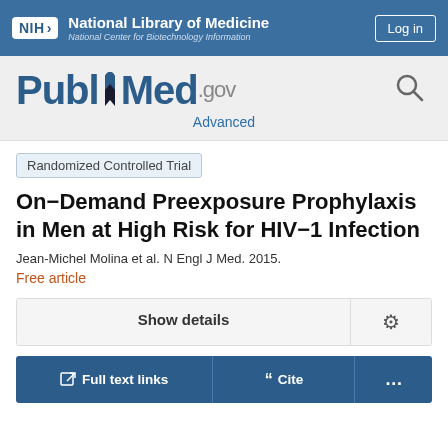[Figure (screenshot): NIH National Library of Medicine / National Center for Biotechnology Information header bar with NIH logo badge, institution name, and Log in button]
[Figure (logo): PubMed.gov logo with book icon and search magnifier, with Advanced search link]
Randomized Controlled Trial
On-Demand Preexposure Prophylaxis in Men at High Risk for HIV-1 Infection
Jean-Michel Molina et al. N Engl J Med. 2015.
Free article
Show details
Full text links
Cite